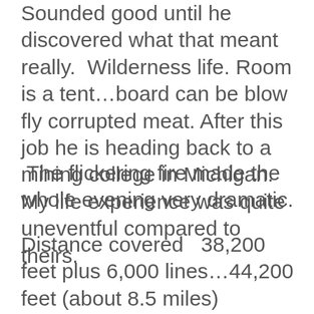Sounded good until he discovered what that meant really.  Wilderness life. Room is a tent…board can be blow fly corrupted meat. After this job he is heading back to a mining college in Michigan.  My life experience was quite uneventful compared to theirs.
The flickering fire made the whole evening very dramatic.
Distance covered   38,200 feet plus 6,000 lines…44,200 feet (about 8.5 miles)